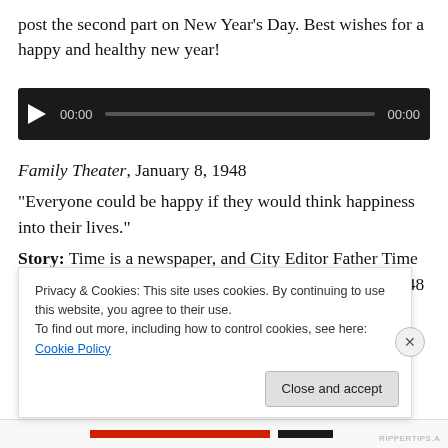post the second part on New Year's Day. Best wishes for a happy and healthy new year!
[Figure (screenshot): Audio player widget with dark background, play button, timestamp 00:00, progress bar, and end time 00:00]
Family Theater, January 8, 1948
“Everyone could be happy if they would think happiness into their lives.”
Story: Time is a newspaper, and City Editor Father Time has to break in a new reporter. He gives cub reporter 1948 an assignment to find the happiest person in the world—an
Privacy & Cookies: This site uses cookies. By continuing to use this website, you agree to their use.
To find out more, including how to control cookies, see here: Cookie Policy
RIPPERTIPS.A